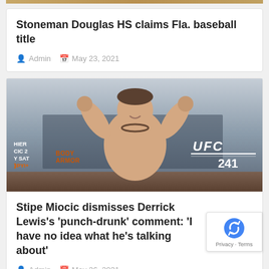[Figure (photo): Top strip/image partial crop at the very top of page]
Stoneman Douglas HS claims Fla. baseball title
Admin   May 23, 2021
[Figure (photo): Photo of Stipe Miocic flexing at UFC 241 weigh-in, with UFC 241 branding and BODYARMOR signage visible in background]
Stipe Miocic dismisses Derrick Lewis's 'punch-drunk' comment: 'I have no idea what he's talking about'
Admin   May 26, 2021